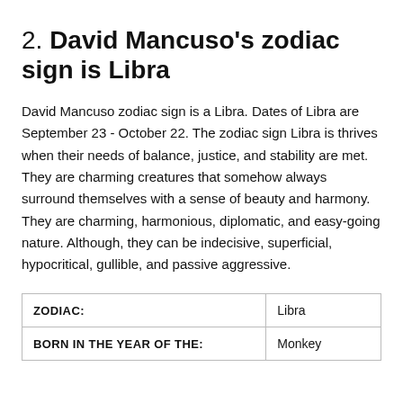2. David Mancuso's zodiac sign is Libra
David Mancuso zodiac sign is a Libra. Dates of Libra are September 23 - October 22. The zodiac sign Libra is thrives when their needs of balance, justice, and stability are met. They are charming creatures that somehow always surround themselves with a sense of beauty and harmony. They are charming, harmonious, diplomatic, and easy-going nature. Although, they can be indecisive, superficial, hypocritical, gullible, and passive aggressive.
| ZODIAC: | Libra |
| BORN IN THE YEAR OF THE: | Monkey |